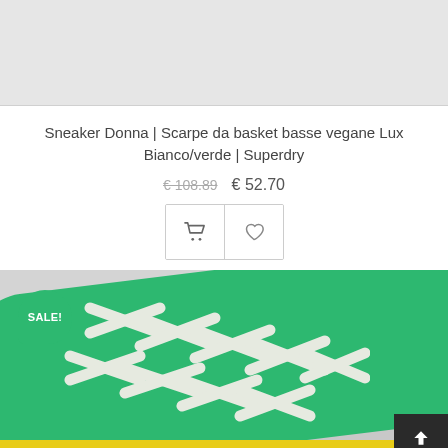[Figure (photo): Top portion of a product listing page showing a light gray product image placeholder (cropped sneaker image top)]
Sneaker Donna | Scarpe da basket basse vegane Lux Bianco/verde | Superdry
€ 108.89  € 52.70
[Figure (photo): Close-up photo of a green Superdry sneaker with white laces, yellow sole visible at bottom, SALE! badge in green at top left, scroll-up button at bottom right]